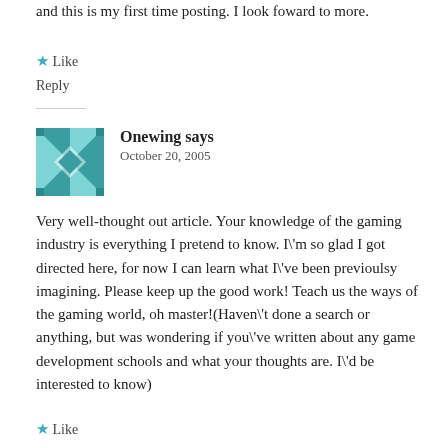and this is my first time posting. I look foward to more.
★ Like
Reply
Onewing says
October 20, 2005
Very well-thought out article. Your knowledge of the gaming industry is everything I pretend to know. I\'m so glad I got directed here, for now I can learn what I\'ve been previoulsy imagining. Please keep up the good work! Teach us the ways of the gaming world, oh master!(Haven\'t done a search or anything, but was wondering if you\'ve written about any game development schools and what your thoughts are. I\'d be interested to know)
★ Like